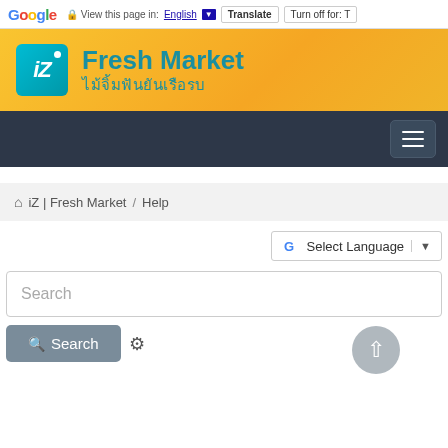Google — View this page in: English ▼ | Translate | Turn off for: T
[Figure (logo): iZ Fresh Market logo with teal/cyan square logo icon and site name in teal on orange gradient background. Thai text: ไม้จิ้มฟันยันเรือรบ]
[Figure (other): Dark navy navigation bar with hamburger menu button (three horizontal lines) on the right]
⌂ iZ | Fresh Market / Help
G Select Language ▼
Search
Search (button with gear icon)